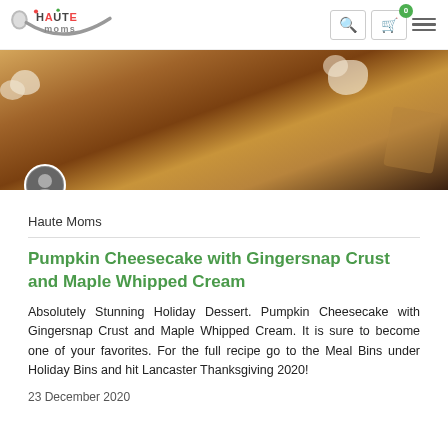Haute Moms — navigation bar with logo, search, cart (0), menu
[Figure (photo): Close-up photo of a pumpkin cheesecake with gingersnap crust and maple whipped cream, with a small circular avatar photo of the author overlaid at the bottom-left]
Haute Moms
Pumpkin Cheesecake with Gingersnap Crust and Maple Whipped Cream
Absolutely Stunning Holiday Dessert. Pumpkin Cheesecake with Gingersnap Crust and Maple Whipped Cream. It is sure to become one of your favorites. For the full recipe go to the Meal Bins under Holiday Bins and hit Lancaster Thanksgiving 2020!
23 December 2020